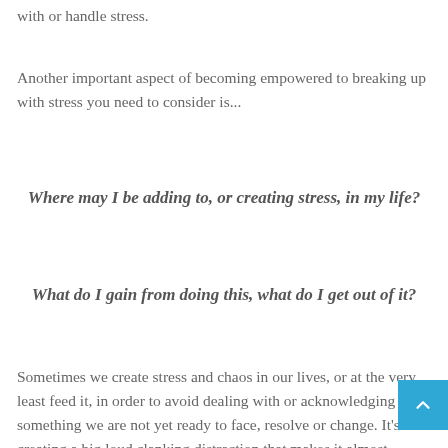with or handle stress.
Another important aspect of becoming empowered to breaking up with stress you need to consider is...
Where may I be adding to, or creating stress, in my life?
What do I gain from doing this, what do I get out of it?
Sometimes we create stress and chaos in our lives, or at the very least feed it, in order to avoid dealing with or acknowledging something we are not yet ready to face, resolve or change. It's like creating a big loud clanking distraction that makes it almost